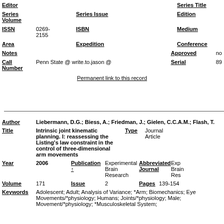| Field | Value1 | Field2 | Value2 |
| --- | --- | --- | --- |
| Editor |  | Series Title |  |
| Series Volume | Series Issue | Edition |  |
| ISSN | 0269-2155 | ISBN | Medium |
| Area |  | Expedition | Conference |
| Notes |  | Approved | no |
| Call Number | Penn State @ write.to.jason @ | Serial | 89 |
Permanent link to this record
| Field | Value |
| --- | --- |
| Author | Liebermann, D.G.; Biess, A.; Friedman, J.; Gielen, C.C.A.M.; Flash, T. |
| Title | Intrinsic joint kinematic planning. I: reassessing the Listing's law constraint in the control of three-dimensional arm movements |
| Type | Journal Article |
| Year | 2006 |
| Publication | Experimental Brain Research |
| Abbreviated Journal | Exp Brain Res |
| Volume | 171 |
| Issue | 2 |
| Pages | 139-154 |
| Keywords | Adolescent; Adult; Analysis of Variance; *Arm; Biomechanics; Eye Movements/*physiology; Humans; Joints/*physiology; Male; Movement/*physiology; *Musculoskeletal System; |